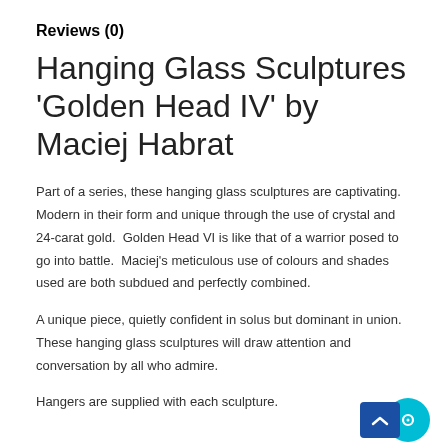Reviews (0)
Hanging Glass Sculptures ‘Golden Head IV’ by Maciej Habrat
Part of a series, these hanging glass sculptures are captivating. Modern in their form and unique through the use of crystal and 24-carat gold.  Golden Head VI is like that of a warrior posed to go into battle.  Maciej’s meticulous use of colours and shades used are both subdued and perfectly combined.
A unique piece, quietly confident in solus but dominant in union. These hanging glass sculptures will draw attention and conversation by all who admire.
Hangers are supplied with each sculpture.